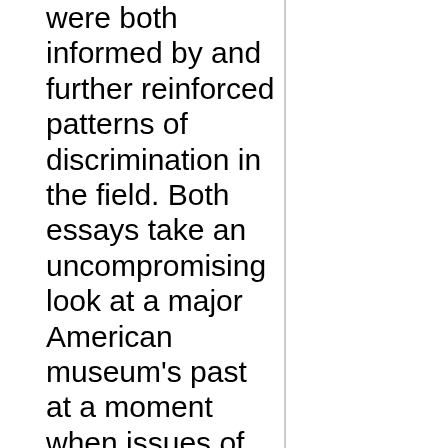were both informed by and further reinforced patterns of discrimination in the field. Both essays take an uncompromising look at a major American museum's past at a moment when issues of racial equality and inclusiveness have gained renewed prominence in